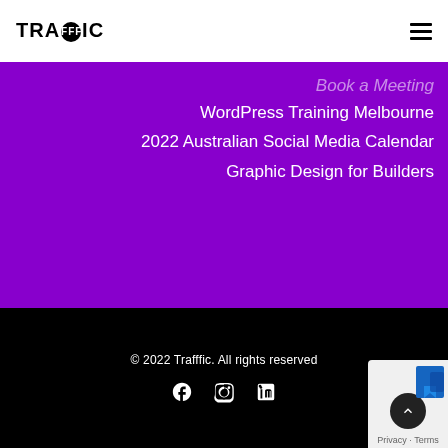[Figure (logo): Trafffic logo with triple-F circle in black text on white background]
Book a Meeting
WordPress Training Melbourne
2022 Australian Social Media Calendar
Graphic Design for Builders
© 2022 Trafffic. All rights reserved
[Figure (infographic): Social media icons: Facebook, Instagram, LinkedIn in white on black background]